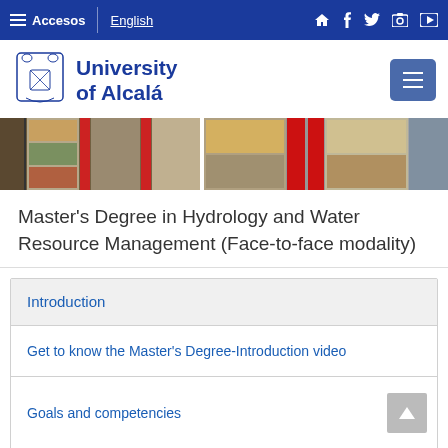≡ Accesos | English
[Figure (logo): University of Alcalá logo with emblem and text]
[Figure (photo): Library bookshelves with colorful binders and books]
Master's Degree in Hydrology and Water Resource Management (Face-to-face modality)
Introduction
Get to know the Master's Degree-Introduction video
Goals and competencies
Access and Admission